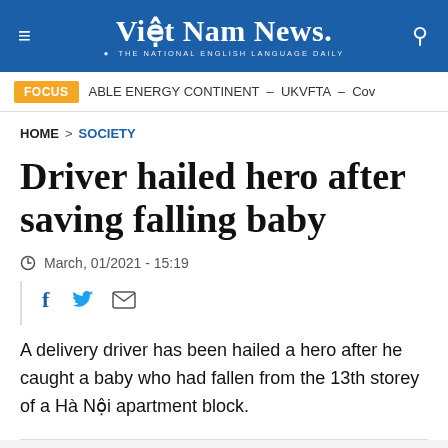Việt Nam News. THE NATIONAL ENGLISH LANGUAGE DAILY
FOCUS  ABLE ENERGY CONTINENT – UKVFTA – Cov
HOME > SOCIETY
Driver hailed hero after saving falling baby
March, 01/2021 - 15:19
A delivery driver has been hailed a hero after he caught a baby who had fallen from the 13th storey of a Hà Nội apartment block.